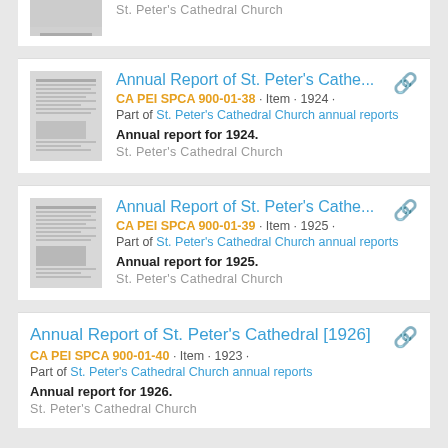St. Peter's Cathedral Church
Annual Report of St. Peter's Cathe... | CA PEI SPCA 900-01-38 · Item · 1924 · Part of St. Peter's Cathedral Church annual reports | Annual report for 1924. | St. Peter's Cathedral Church
Annual Report of St. Peter's Cathe... | CA PEI SPCA 900-01-39 · Item · 1925 · Part of St. Peter's Cathedral Church annual reports | Annual report for 1925. | St. Peter's Cathedral Church
Annual Report of St. Peter's Cathedral [1926] | CA PEI SPCA 900-01-40 · Item · 1923 · Part of St. Peter's Cathedral Church annual reports | Annual report for 1926. | St. Peter's Cathedral Church